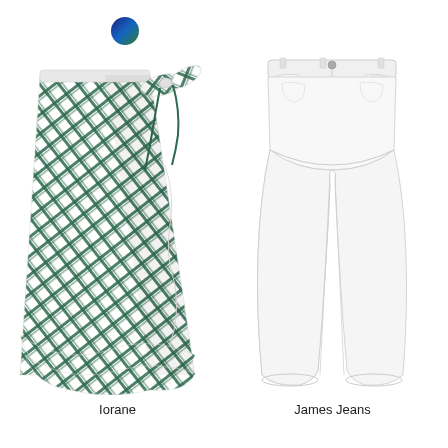[Figure (illustration): A small dark blue and navy circular color swatch/dot in the upper left area of the page]
[Figure (photo): A white wrap maxi skirt with green plaid/check pattern and ruffle hem, with a tied bow at the waist. Brand: Iorane.]
Iorane
[Figure (photo): White skinny jeans/denim with classic 5-pocket styling. Brand: James Jeans.]
James Jeans